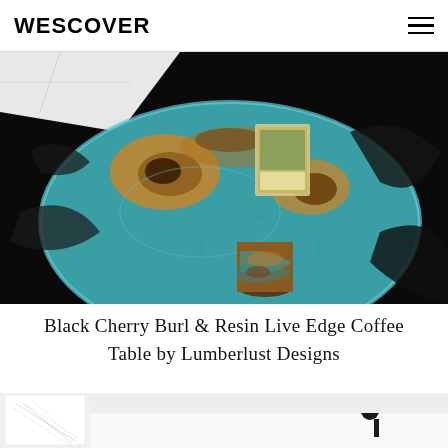WESCOVER
[Figure (photo): Overhead view of a round Black Cherry Burl and teal/turquoise resin live edge coffee table with a cylindrical wood and resin pedestal leg, placed on a black fur rug with white tile floor visible in background. A magazine sits on top of the table surface.]
Black Cherry Burl & Resin Live Edge Coffee Table by Lumberlust Designs
[Figure (photo): Partial view of a bright white interior room with artwork on the wall and a small black lamp visible, cropped at the bottom of the page.]